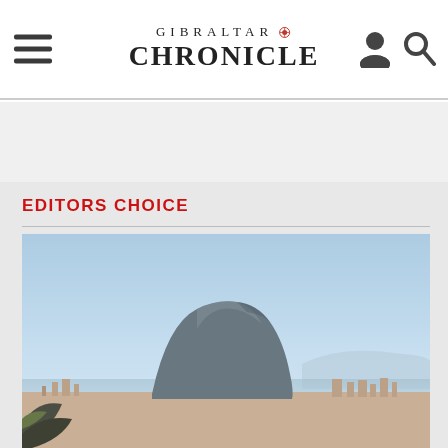GIBRALTAR CHRONICLE
EDITORS CHOICE
[Figure (photo): Aerial view of the Rock of Gibraltar with city below and hazy blue sky above]